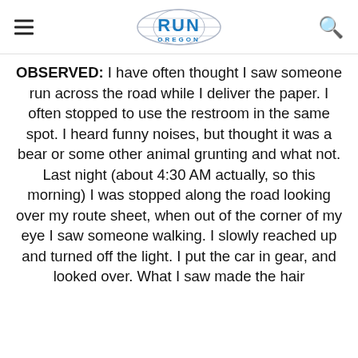RUN OREGON
OBSERVED: I have often thought I saw someone run across the road while I deliver the paper. I often stopped to use the restroom in the same spot. I heard funny noises, but thought it was a bear or some other animal grunting and what not. Last night (about 4:30 AM actually, so this morning) I was stopped along the road looking over my route sheet, when out of the corner of my eye I saw someone walking. I slowly reached up and turned off the light. I put the car in gear, and looked over. What I saw made the hair